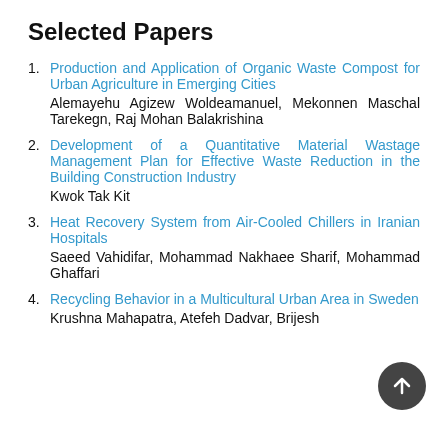Selected Papers
Production and Application of Organic Waste Compost for Urban Agriculture in Emerging Cities
Alemayehu Agizew Woldeamanuel, Mekonnen Maschal Tarekegn, Raj Mohan Balakrishina
Development of a Quantitative Material Wastage Management Plan for Effective Waste Reduction in the Building Construction Industry
Kwok Tak Kit
Heat Recovery System from Air-Cooled Chillers in Iranian Hospitals
Saeed Vahidifar, Mohammad Nakhaee Sharif, Mohammad Ghaffari
Recycling Behavior in a Multicultural Urban Area in Sweden
Krushna Mahapatra, Atefeh Dadvar, Brijesh